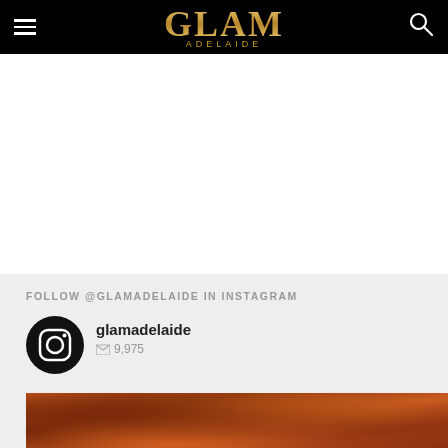GLAM ADELAIDE
[Figure (photo): Partial thumbnail image of a person in the top-left below the header]
FOLLOW @GLAMADELAIDE IN INSTAGRAM
[Figure (logo): Instagram icon (circle with camera outline, black background)]
glamadelaide
9,975
[Figure (photo): Aerial photo of textured clouds lit in orange and red tones]